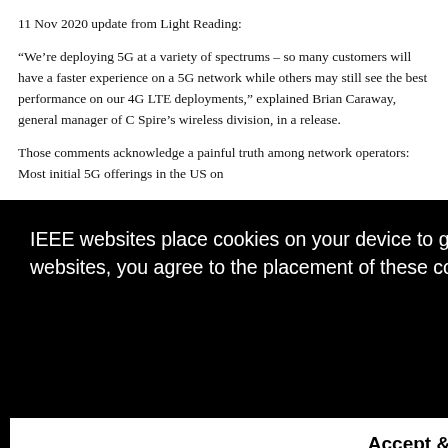11 Nov 2020 update from Light Reading:
“We’re deploying 5G at a variety of spectrums – so many customers will have a faster experience on a 5G network while others may still see the best performance on our 4G LTE deployments,” explained Brian Caraway, general manager of C Spire’s wireless division, in a release.
Those comments acknowledge a painful truth among network operators: Most initial 5G offerings in the US on [text obscured by overlay]
[Figure (screenshot): IEEE cookie consent dialog overlay on a black background. Text reads: 'IEEE websites place cookies on your device to give you the best user experience. By using our websites, you agree to the placement of these cookies. To learn more, read our Privacy Policy.' Below is an 'Accept & Close' button on a white background.]
[partially obscured] ...ent on ...e the ...ddition ...QAM.
...ter ...the future. This highband spectrum can support blazing-fast ...